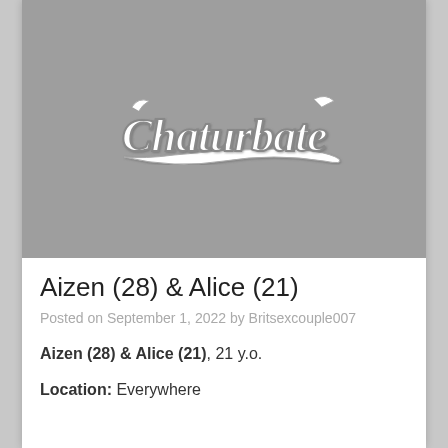[Figure (logo): Chaturbate logo in cursive script on a gray background]
Aizen (28) & Alice (21)
Posted on September 1, 2022 by Britsexcouple007
Aizen (28) & Alice (21), 21 y.o.
Location: Everywhere